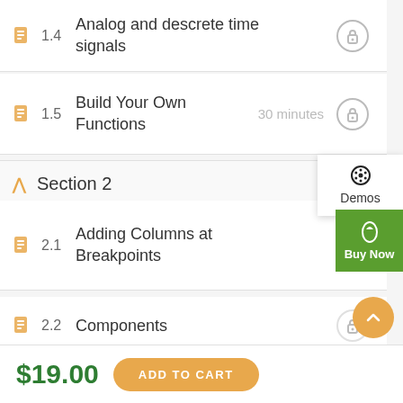1.4 Analog and descrete time signals
1.5 Build Your Own Functions — 30 minutes
Section 2
2.1 Adding Columns at Breakpoints
2.2 Components
Demos
Buy Now
$19.00
ADD TO CART